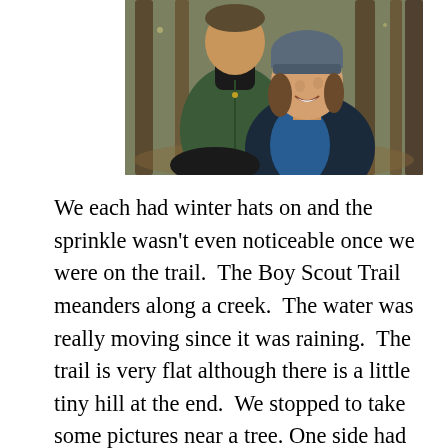[Figure (photo): Outdoor selfie of two people in winter clothing in a wooded area. A man in a dark green fleece jacket with a black turtleneck stands behind a smiling woman wearing a gray knit beanie and blue/black jacket. Trees are visible in the background.]
We each had winter hats on and the sprinkle wasn't even noticeable once we were on the trail.  The Boy Scout Trail meanders along a creek.  The water was really moving since it was raining.  The trail is very flat although there is a little tiny hill at the end.  We stopped to take some pictures near a tree. One side had horrible orange graffiti.  I hate it when I see graffiti on trees!!!  What is wrong with people?  It makes